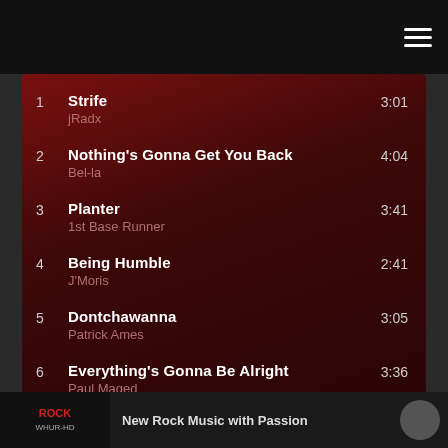Menu navigation icon
1  Strife  jRadx  3:01
2  Nothing's Gonna Get You Back  Bel-la  4:04
3  Planter  1st Base Runner  3:41
4  Being Humble  J'Moris  2:41
5  Dontchawanna  Patrick Ames  3:05
6  Everything's Gonna Be Alright  Paul Maged  3:36
ROCK  New Rock Music with Passion